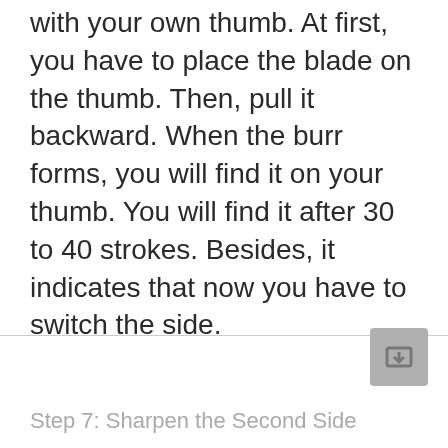with your own thumb. At first, you have to place the blade on the thumb. Then, pull it backward. When the burr forms, you will find it on your thumb. You will find it after 30 to 40 strokes. Besides, it indicates that now you have to switch the side.
Step 7: Sharpen the Second Side